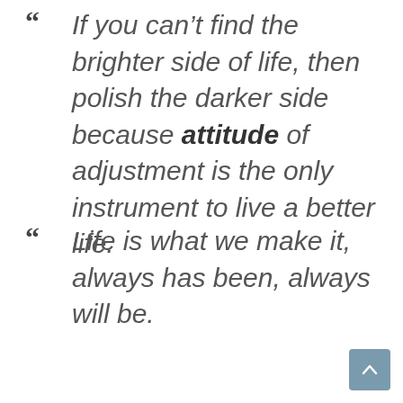“If you can’t find the brighter side of life, then polish the darker side because attitude of adjustment is the only instrument to live a better life.
“Life is what we make it, always has been, always will be.